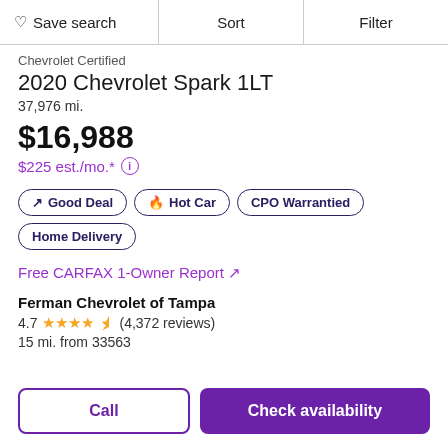Save search | Sort | Filter
Chevrolet Certified
2020 Chevrolet Spark 1LT
37,976 mi.
$16,988
$225 est./mo.* (i)
Good Deal
Hot Car
CPO Warrantied
Home Delivery
Free CARFAX 1-Owner Report ↗
Ferman Chevrolet of Tampa
4.7 ★★★★½ (4,372 reviews)
15 mi. from 33563